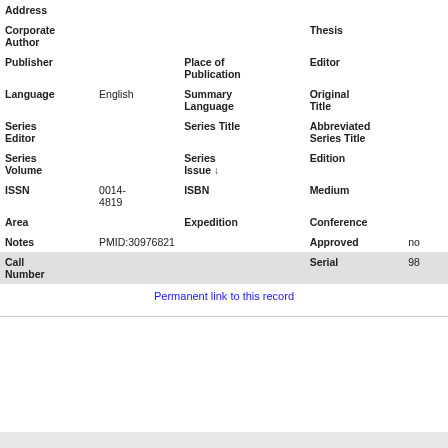| Address |  |  |  |
| Corporate Author |  |  | Thesis |
| Publisher |  | Place of Publication | Editor |
| Language | English | Summary Language | Original Title |
| Series Editor |  | Series Title | Abbreviated Series Title |
| Series Volume |  | Series Issue ↓ | Edition |
| ISSN | 0014-4819 | ISBN | Medium |
| Area |  | Expedition | Conference |
| Notes | PMID:30976821 |  | Approved | no |
| Call Number |  |  | Serial | 98 |
Permanent link to this record